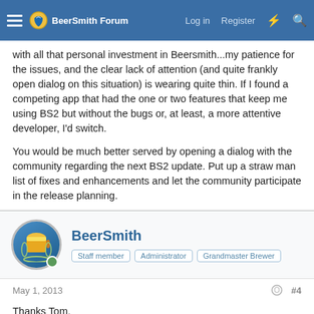BeerSmith Forum — Log in | Register
with all that personal investment in Beersmith...my patience for the issues, and the clear lack of attention (and quite frankly open dialog on this situation) is wearing quite thin.  If I found a competing app that had the one or two features that keep me using BS2 but without the bugs or, at least, a more attentive developer, I'd switch.
You would be much better served by opening a dialog with the community regarding the next BS2 update.  Put up a straw man list of fixes and enhancements and let the community participate in the release planning.
BeerSmith — Staff member | Administrator | Grandmaster Brewer
May 1, 2013 — #4
Thanks Tom,
I appreciate the feedback. I admit to being stretched thin - but